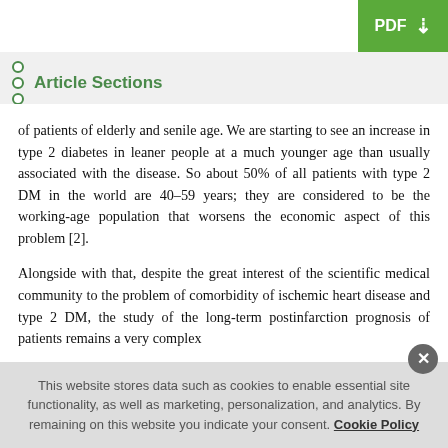+ Journal Menu | PDF ↓
Article Sections
of patients of elderly and senile age. We are starting to see an increase in type 2 diabetes in leaner people at a much younger age than usually associated with the disease. So about 50% of all patients with type 2 DM in the world are 40–59 years; they are considered to be the working-age population that worsens the economic aspect of this problem [2].
Alongside with that, despite the great interest of the scientific medical community to the problem of comorbidity of ischemic heart disease and type 2 DM, the study of the long-term postinfarction prognosis of patients remains a very complex
This website stores data such as cookies to enable essential site functionality, as well as marketing, personalization, and analytics. By remaining on this website you indicate your consent. Cookie Policy